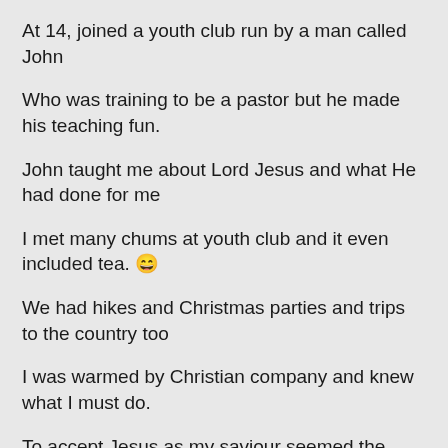At 14, joined a youth club run by a man called John
Who was training to be a pastor but he made his teaching fun.
John taught me about Lord Jesus and what He had done for me
I met many chums at youth club and it even included tea. 😄
We had hikes and Christmas parties and trips to the country too
I was warmed by Christian company and knew what I must do.
To accept Jesus as my saviour seemed the wisest of actions then